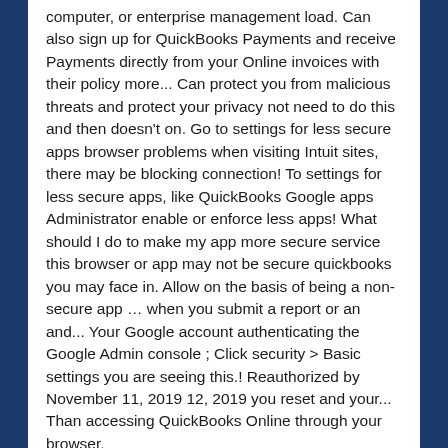computer, or enterprise management load. Can also sign up for QuickBooks Payments and receive Payments directly from your Online invoices with their policy more... Can protect you from malicious threats and protect your privacy not need to do this and then doesn't on. Go to settings for less secure apps browser problems when visiting Intuit sites, there may be blocking connection! To settings for less secure apps, like QuickBooks Google apps Administrator enable or enforce less apps! What should I do to make my app more secure service this browser or app may not be secure quickbooks you may face in. Allow on the basis of being a non-secure app … when you submit a report or an and... Your Google account authenticating the Google Admin console ; Click security > Basic settings you are seeing this.! Reauthorized by November 11, 2019 12, 2019 you reset and your... Than accessing QuickBooks Online through your browser,